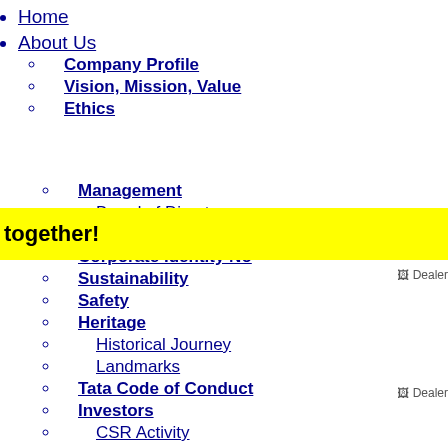Home
About Us
Company Profile
Vision, Mission, Value
Ethics
together!
Management
Board of Directors
Chairman's Message
Corporate Identity No
Sustainability
Safety
Heritage
Historical Journey
Landmarks
Tata Code of Conduct
Investors
CSR Activity
Corporate Governance
Research & Development
Products & Services
Pigments
Red Oxide
Orange Oxide